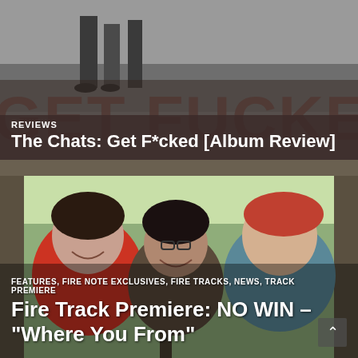[Figure (photo): Black and white photo of people standing on grass, partially visible from waist down, with 'GET FUCKED' text overlay in large brown/dark letters across the bottom portion]
REVIEWS
The Chats: Get F*cked [Album Review]
[Figure (photo): Color photo of three people smiling and laughing inside a van/vehicle, seen through the window. Person on left wearing red shirt, middle person wearing glasses, person on right with reddish hair.]
FEATURES, FIRE NOTE EXCLUSIVES, FIRE TRACKS, NEWS, TRACK PREMIERE
Fire Track Premiere: NO WIN – "Where You From"